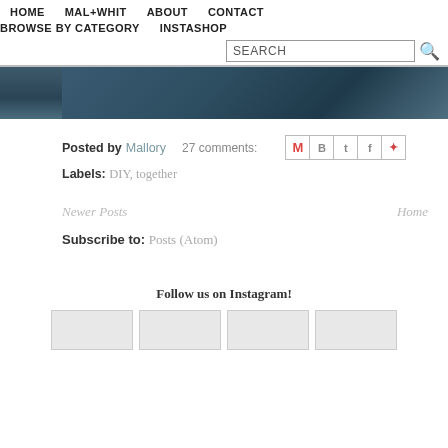HOME   MAL+WHIT   ABOUT   CONTACT   BROWSE BY CATEGORY   INSTASHOP
[Figure (screenshot): Search bar with SEARCH placeholder text and magnifying glass icon]
[Figure (photo): Dark blue textured background image strip]
Posted by Mallory   27 comments:
Labels: DIY, together
Newer Posts   Home
Subscribe to: Posts (Atom)
Follow us on Instagram!